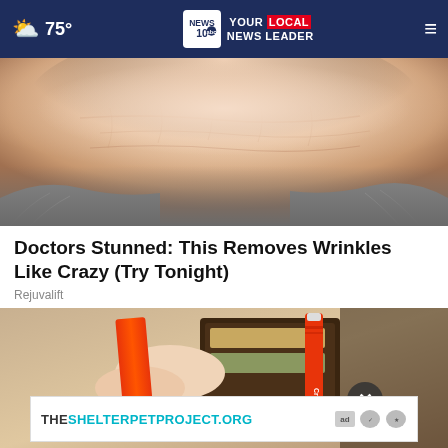☁ 75° | NEWS 10 abc YOUR LOCAL NEWS LEADER
[Figure (photo): Close-up of wrinkled skin on a person's forehead with gray hair on the sides]
Doctors Stunned: This Removes Wrinkles Like Crazy (Try Tonight)
Rejuvalift
[Figure (photo): Hands holding a wallet with a red Crayola crayon being inserted]
THESHELTERPETPROJECT.ORG